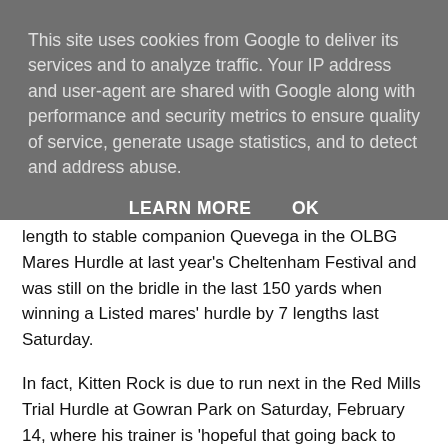This site uses cookies from Google to deliver its services and to analyze traffic. Your IP address and user-agent are shared with Google along with performance and security metrics to ensure quality of service, generate usage statistics, and to detect and address abuse.
LEARN MORE   OK
length to stable companion Quevega in the OLBG Mares Hurdle at last year's Cheltenham Festival and was still on the bridle in the last 150 yards when winning a Listed mares' hurdle by 7 lengths last Saturday.
In fact, Kitten Rock is due to run next in the Red Mills Trial Hurdle at Gowran Park on Saturday, February 14, where his trainer is 'hopeful that going back to two miles with a faster pace will suit him'. Kitten Rock is the best horse in that race, according to official ratings but, even so, a win against a couple of geldings that ran in last year's Triumph Hurdle, would surely see his odds cut for the Champion Hurdle.
Of the others, Garde La Victoire (50/1) never threatened in